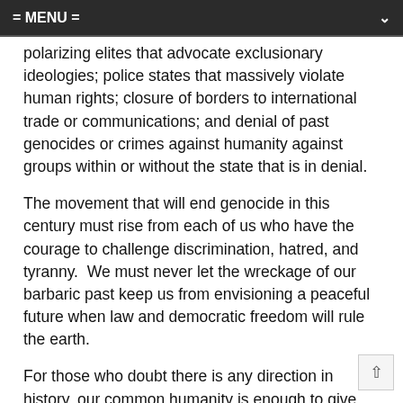= MENU =
polarizing elites that advocate exclusionary ideologies; police states that massively violate human rights; closure of borders to international trade or communications; and denial of past genocides or crimes against humanity against groups within or without the state that is in denial.
The movement that will end genocide in this century must rise from each of us who have the courage to challenge discrimination, hatred, and tyranny.  We must never let the wreckage of our barbaric past keep us from envisioning a peaceful future when law and democratic freedom will rule the earth.
For those who doubt there is any direction in history, our common humanity is enough to give meaning to our cause.  To those of us who know that history is not some directionless accident, this is our calling and our destiny.